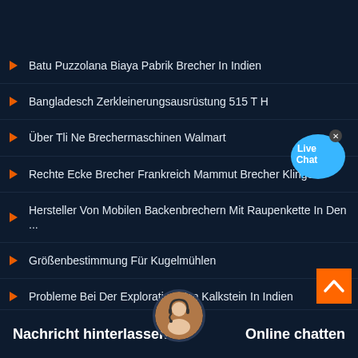Batu Puzzolana Biaya Pabrik Brecher In Indien
Bangladesch Zerkleinerungsausrüstung 515 T H
Über Tli Ne Brechermaschinen Walmart
Rechte Ecke Brecher Frankreich Mammut Brecher Klinge
Hersteller Von Mobilen Backenbrechern Mit Raupenkette In Den ...
Größenbestimmung Für Kugelmühlen
Probleme Bei Der Exploration Von Kalkstein In Indien
Hilfe Bei Der Hydraulischen E... inerung Indien
Nachricht hinterlassen
Online chatten
Führende Persönlichkeiten Im Schubergbau Im Punjab